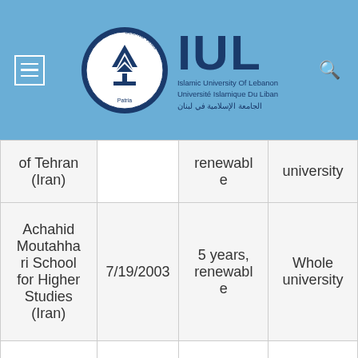[Figure (logo): IUL Islamic University of Lebanon logo with circular emblem and text]
| of Tehran (Iran) |  | renewable | university |
| Achahid Moutahhri School for Higher Studies (Iran) | 7/19/2003 | 5 years, renewable | Whole university |
|  |  |  |  |